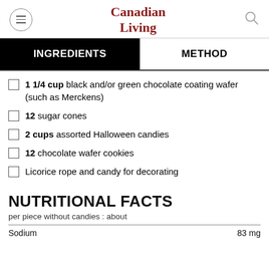Canadian Living
INGREDIENTS | METHOD
1 1/4 cup  black and/or green chocolate coating wafer (such as Merckens)
12  sugar cones
2 cups  assorted Halloween candies
12  chocolate wafer cookies
Licorice rope and candy for decorating
NUTRITIONAL FACTS
per piece without candies : about
|  |  |
| --- | --- |
| Sodium | 83 mg |